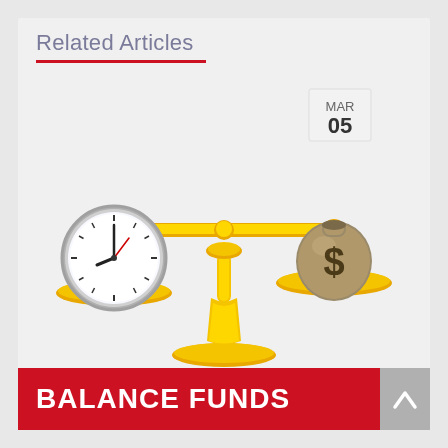Related Articles
[Figure (illustration): A golden balance scale with a clock on the left pan (lower, heavier) and a money bag with a dollar sign on the right pan (higher). Date badge showing MAR 05 in the upper right area. The scale has a decorative golden pedestal and base.]
BALANCE FUNDS